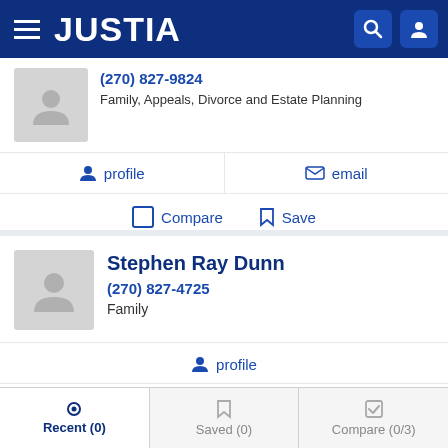JUSTIA
(270) 827-9824
Family, Appeals, Divorce and Estate Planning
profile | email
Compare  Save
Stephen Ray Dunn
(270) 827-4725
Family
profile
Compare  Save
Recent (0)  Saved (0)  Compare (0/3)